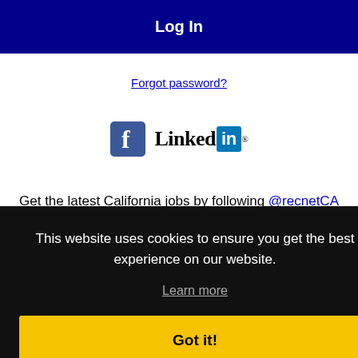Log In
Forgot password?
[Figure (logo): Facebook logo and LinkedIn logo side by side]
Get the latest California jobs by following @recnetCA on Twitter!
This website uses cookies to ensure you get the best experience on our website.
Learn more
Got it!
Search Moreno Valley jobs